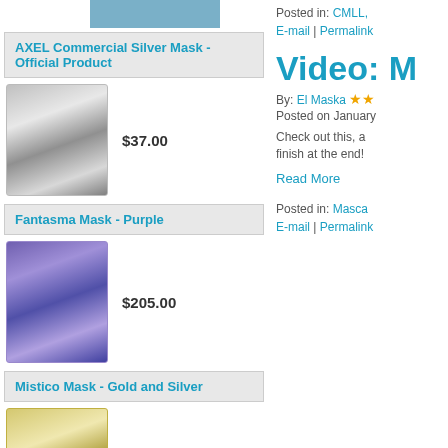[Figure (photo): Person wearing a mask, cropped at top of left column]
AXEL Commercial Silver Mask - Official Product
[Figure (photo): Silver lucha libre wrestling mask]
$37.00
Fantasma Mask - Purple
[Figure (photo): Purple Fantasma lucha libre wrestling mask]
$205.00
Mistico Mask - Gold and Silver
[Figure (photo): Gold and silver Mistico lucha libre wrestling mask]
$205.00
Tinieblas Commerical Metallic Gold Mask - Official Product
[Figure (photo): Partial view of gold metallic Tinieblas mask at bottom]
Posted in: CMLL,
E-mail | Permalink
Video: M
By: El Maska
Posted on January
Check out this, a finish at the end!
Read More
Posted in: Masca
E-mail | Permalink